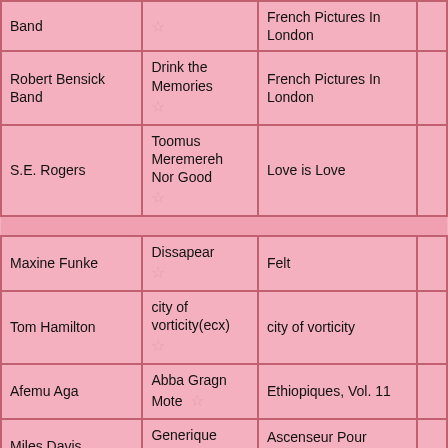| Artist | Song | Album |  |
| --- | --- | --- | --- |
| Band |  | French Pictures In London |  |
| Robert Bensick Band | Drink the Memories | French Pictures In London |  |
| S.E. Rogers | Toomus Meremereh Nor Good | Love is Love |  |
|  |  |  |  |
| Maxine Funke | Dissapear | Felt |  |
| Tom Hamilton | city of vorticity(ecx) | city of vorticity |  |
| Afemu Aga | Abba Gragn Mote | Ethiopiques, Vol. 11 |  |
| Miles Davis | Generique | Ascenseur Pour L'echafaud |  |
| La Femme | Nous Etions Deux | Psycho Tropical Berlin |  |
| Clocked Out | Diamond Mechanics | Time Crystals | In |